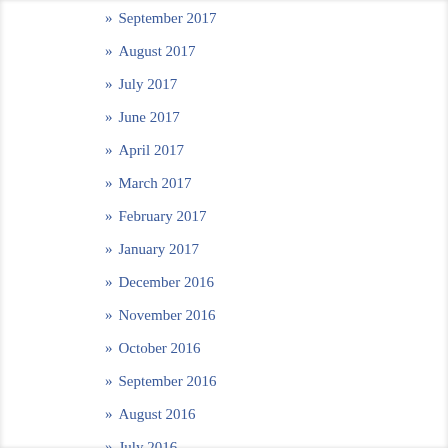September 2017
August 2017
July 2017
June 2017
April 2017
March 2017
February 2017
January 2017
December 2016
November 2016
October 2016
September 2016
August 2016
July 2016
June 2016
May 2016